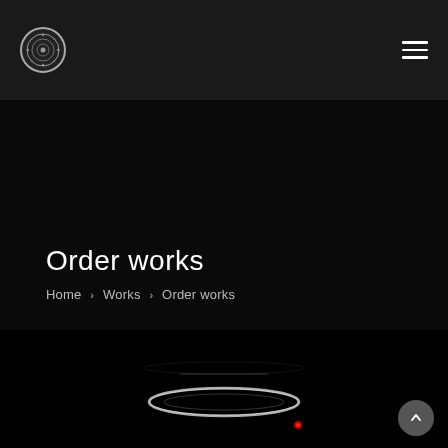[Figure (logo): Circular logo with decorative pattern on dark header bar]
Order works
Home › Works › Order works
[Figure (photo): Dark photograph showing a glowing ring or circular light fixture against a nearly black background, with a small red light visible]